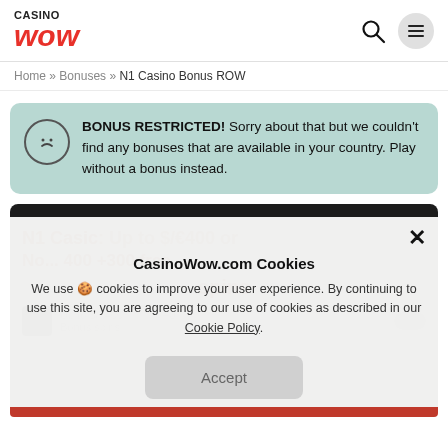CASINO WOW
Home » Bonuses » N1 Casino Bonus ROW
BONUS RESTRICTED! Sorry about that but we couldn't find any bonuses that are available in your country. Play without a bonus instead.
[Figure (screenshot): N1 Casino promotional card with title 'N1 Casino: Up to $/€400 or No...400 +300 free spins' and cookie consent overlay]
CasinoWow.com Cookies
We use 🍪 cookies to improve your user experience. By continuing to use this site, you are agreeing to our use of cookies as described in our Cookie Policy.
Accept